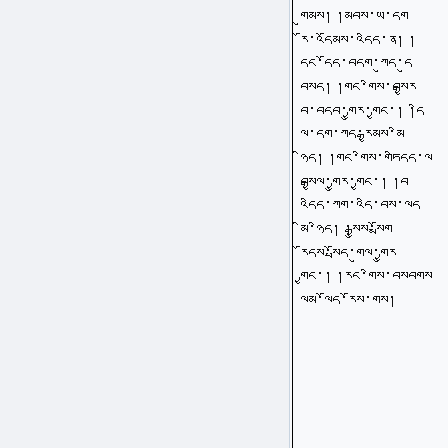Tibetan script text passage (right column)